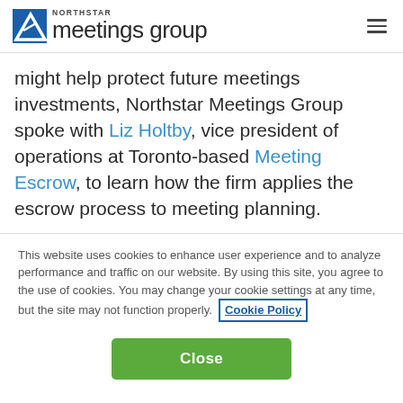NORTHSTAR meetings group
might help protect future meetings investments, Northstar Meetings Group spoke with Liz Holtby, vice president of operations at Toronto-based Meeting Escrow, to learn how the firm applies the escrow process to meeting planning.
This website uses cookies to enhance user experience and to analyze performance and traffic on our website. By using this site, you agree to the use of cookies. You may change your cookie settings at any time, but the site may not function properly. Cookie Policy
Close